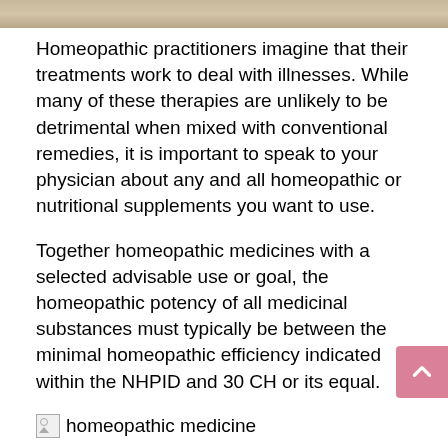[Figure (photo): Top decorative image strip showing a blurred natural/herbal background]
Homeopathic practitioners imagine that their treatments work to deal with illnesses. While many of these therapies are unlikely to be detrimental when mixed with conventional remedies, it is important to speak to your physician about any and all homeopathic or nutritional supplements you want to use.
Together homeopathic medicines with a selected advisable use or goal, the homeopathic potency of all medicinal substances must typically be between the minimal homeopathic efficiency indicated within the NHPID and 30 CH or its equal.
[Figure (photo): Broken image placeholder labeled 'homeopathic medicine']
As much as the end of 2014, a total of 104 papers reporting good-quality placebo-managed randomised managed trials (RCTs) in homeopathy (on sixty one completely different medical conditions) have been revealed in peer-reviewed journals